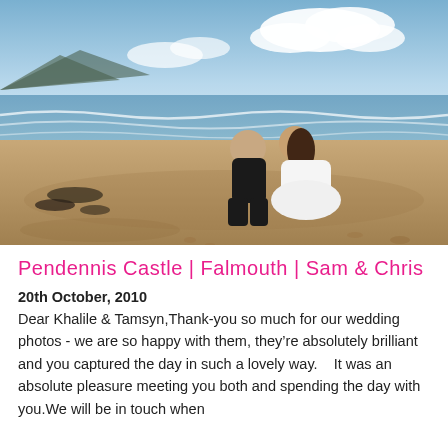[Figure (photo): Wedding couple kissing on a sandy beach. The groom is in a black suit, the bride in a white dress with long dark wavy hair. Ocean waves and mountains in the background under a partly cloudy sky.]
Pendennis Castle | Falmouth | Sam & Chris
20th October, 2010
Dear Khalile & Tamsyn,Thank-you so much for our wedding photos - we are so happy with them, they're absolutely brilliant and you captured the day in such a lovely way.    It was an absolute pleasure meeting you both and spending the day with you.We will be in touch when